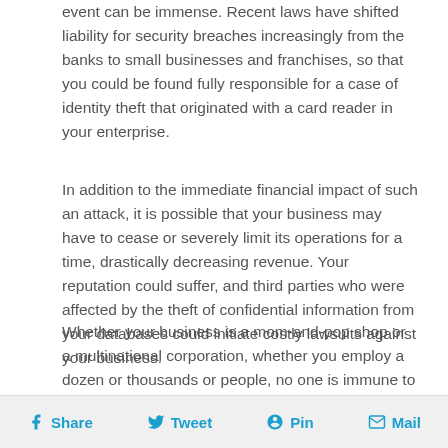event can be immense. Recent laws have shifted liability for security breaches increasingly from the banks to small businesses and franchises, so that you could be found fully responsible for a case of identity theft that originated with a card reader in your enterprise.
In addition to the immediate financial impact of such an attack, it is possible that your business may have to cease or severely limit its operations for a time, drastically decreasing revenue. Your reputation could suffer, and third parties who were affected by the theft of confidential information from your databases could initiate costly lawsuits against your business.
Whether your business is a mom-and-pop shop or a multinational corporation, whether you employ a dozen or thousands or people, no one is immune to a cyber attack. If you operate a business, then contact us to explore your options for cyber liability insurance.
Share  Tweet  Pin  Mail